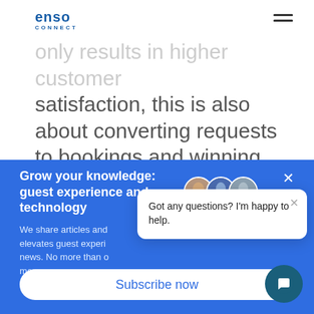[Figure (logo): Enso Connect logo with hamburger menu icon in top right]
only results in higher customer satisfaction, this is also about converting requests to bookings and winning sales opportunities from slower competitors.
Grow your knowledge: guest experience and technology
We share articles and elevates guest experience news. No more than o more.
Subscribe now
[Figure (screenshot): Chat popup with avatar group showing three people and text: Got any questions? I'm happy to help.]